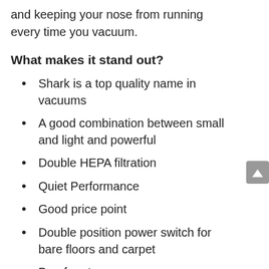and keeping your nose from running every time you vacuum.
What makes it stand out?
Shark is a top quality name in vacuums
A good combination between small and light and powerful
Double HEPA filtration
Quiet Performance
Good price point
Double position power switch for bare floors and carpet
Bag-free to save money